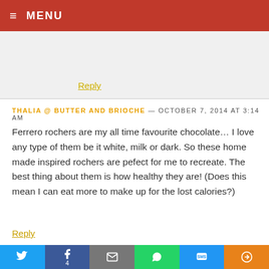≡ MENU
Reply
THALIA @ BUTTER AND BRIOCHE — OCTOBER 7, 2014 at 3:14 AM
Ferrero rochers are my all time favourite chocolate… I love any type of them be it white, milk or dark. So these home made inspired rochers are pefect for me to recreate. The best thing about them is how healthy they are! (Does this mean I can eat more to make up for the lost calories?)
Reply
DESSERTSWITHBENEFITS — OCTOBER 7, 2014 at 4:00